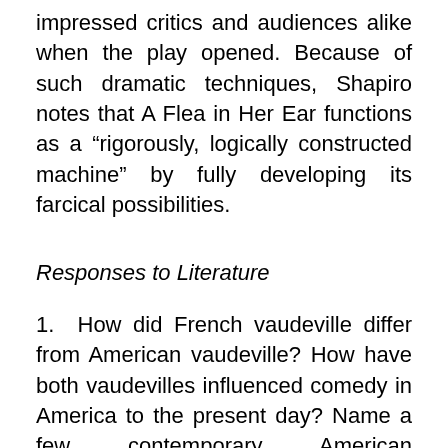impressed critics and audiences alike when the play opened. Because of such dramatic techniques, Shapiro notes that A Flea in Her Ear functions as a “rigorously, logically constructed machine” by fully developing its farcical possibilities.
Responses to Literature
1.  How did French vaudeville differ from American vaudeville? How have both vaudevilles influenced comedy in America to the present day? Name a few contemporary American comedians who draw upon vaudeville for their